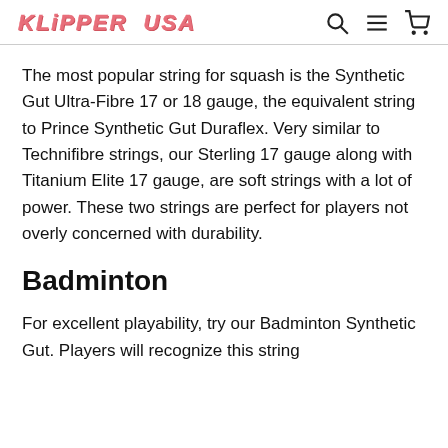KLIPPER USA
The most popular string for squash is the Synthetic Gut Ultra-Fibre 17 or 18 gauge, the equivalent string to Prince Synthetic Gut Duraflex. Very similar to Technifibre strings, our Sterling 17 gauge along with Titanium Elite 17 gauge, are soft strings with a lot of power. These two strings are perfect for players not overly concerned with durability.
Badminton
For excellent playability, try our Badminton Synthetic Gut. Players will recognize this string